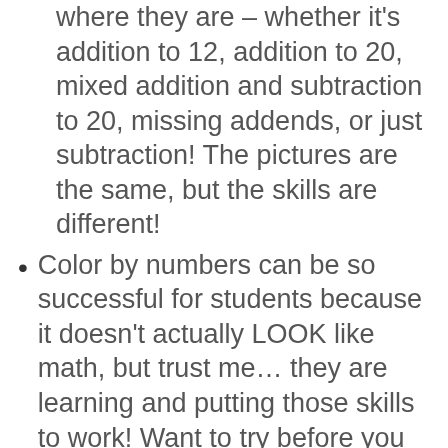where they are – whether it's addition to 12, addition to 20, mixed addition and subtraction to 20, missing addends, or just subtraction!  The pictures are the same, but the skills are different!
Color by numbers can be so successful for students because it doesn't actually LOOK like math, but trust me… they are learning and putting those skills to work!  Want to try before you buy?  READ MORE HERE!
HEAR FROM OTHERS: 🏆